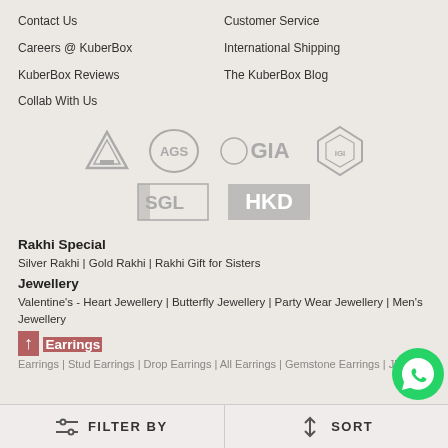Contact Us
Customer Service
Careers @ KuberBox
International Shipping
KuberBox Reviews
The KuberBox Blog
Collab With Us
[Figure (logo): Certification logos: triangle logo, AGS logo, GIA logo, IGI diamond logo, SGL logo, HKD logo]
Rakhi Special
Silver Rakhi | Gold Rakhi | Rakhi Gift for Sisters
Jewellery
Valentine's - Heart Jewellery | Butterfly Jewellery | Party Wear Jewellery | Men's Jewellery
Earrings
Earrings | Stud Earrings | Drop Earrings | All Earrings | Gemstone Earrings | Jhumka...
FILTER BY   SORT